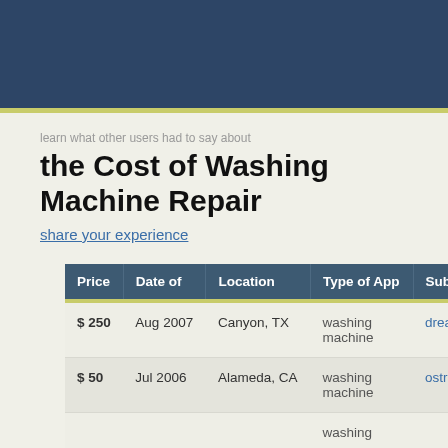learn what other users had to say about
the Cost of Washing Machine Repair
share your experience
| Price | Date of | Location | Type of App | Submit |
| --- | --- | --- | --- | --- |
| $ 250 | Aug 2007 | Canyon, TX | washing machine | dreamt |
| $ 50 | Jul 2006 | Alameda, CA | washing machine | ostrich |
|  |  |  | washing |  |